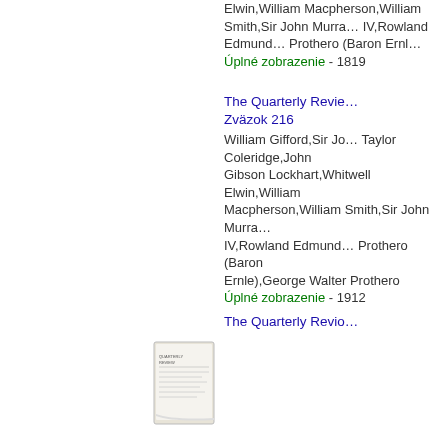Elwin,William Macpherson,William Smith,Sir John Murray IV,Rowland Edmund Prothero (Baron Ernl…
Úplné zobrazenie - 1819
The Quarterly Review, Zväzok 216
William Gifford,Sir Jo… Taylor Coleridge,John Gibson Lockhart,Whitwell Elwin,William Macpherson,William Smith,Sir John Murray IV,Rowland Edmund… Prothero (Baron Ernle),George Walter Prothero
Úplné zobrazenie - 1912
The Quarterly Revio…
[Figure (illustration): Small thumbnail image of a book cover for The Quarterly Review, Zväzok 216]